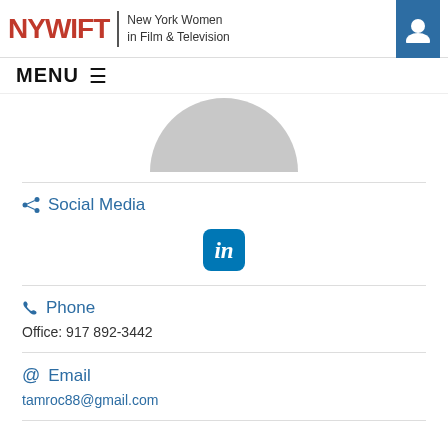NYWIFT | New York Women in Film & Television
MENU
[Figure (photo): Partial view of a profile photo placeholder — grey rounded shape (top half of silhouette)]
Social Media
[Figure (logo): LinkedIn icon — blue rounded square with white italic 'in']
Phone
Office:  917 892-3442
Email
tamroc88@gmail.com